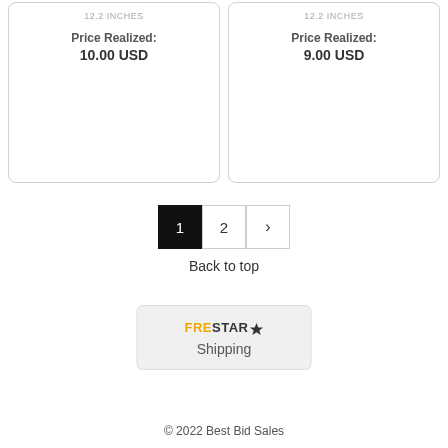12.2 INCHES
Price Realized:
10.00 USD
12.2 INCHES
Price Realized:
9.00 USD
1  2  ›
Back to top
[Figure (logo): FRESTAR star logo with Shipping text below]
© 2022 Best Bid Sales